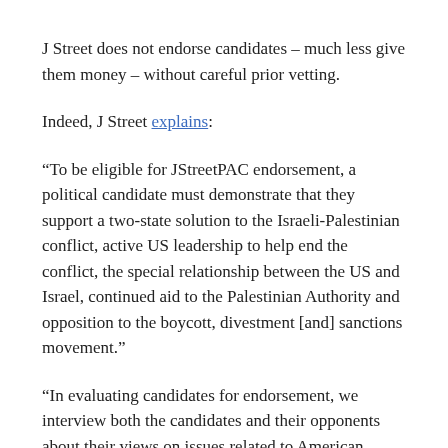J Street does not endorse candidates – much less give them money – without careful prior vetting.
Indeed, J Street explains:
“To be eligible for JStreetPAC endorsement, a political candidate must demonstrate that they support a two-state solution to the Israeli-Palestinian conflict, active US leadership to help end the conflict, the special relationship between the US and Israel, continued aid to the Palestinian Authority and opposition to the boycott, divestment [and] sanctions movement.”
“In evaluating candidates for endorsement, we interview both the candidates and their opponents about their views on issues related to American policy toward Israel and the Middle East,” the Israel lobby group adds.